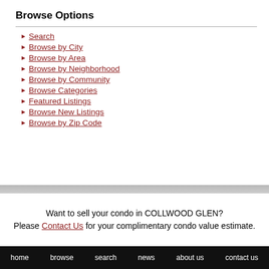Browse Options
Search
Browse by City
Browse by Area
Browse by Neighborhood
Browse by Community
Browse Categories
Featured Listings
Browse New Listings
Browse by Zip Code
Want to sell your condo in COLLWOOD GLEN? Please Contact Us for your complimentary condo value estimate.
home   browse   search   news   about us   contact us